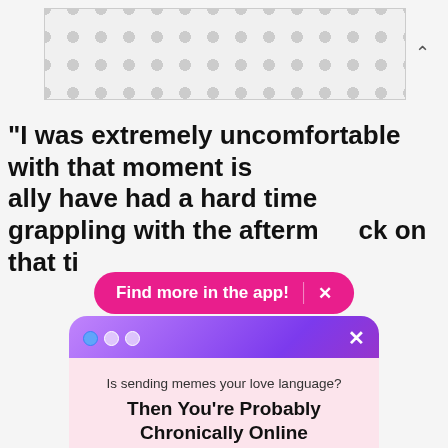[Figure (other): Ad banner with gray polka dot pattern]
“I was extremely uncomfortable with that moment is … ally have had a hard time grappling with the afterm… ck on that ti…
[Figure (screenshot): Pink pill-shaped banner reading 'Find more in the app!' with an X close button]
[Figure (screenshot): Modal popup with gradient header, three dots, X close button, and newsletter signup form. Contains text 'Is sending memes your love language?', 'Then You're Probably Chronically Online', 'Join Us', an email input, 'Sign Me Up!' button, and 'No Thanks' link.]